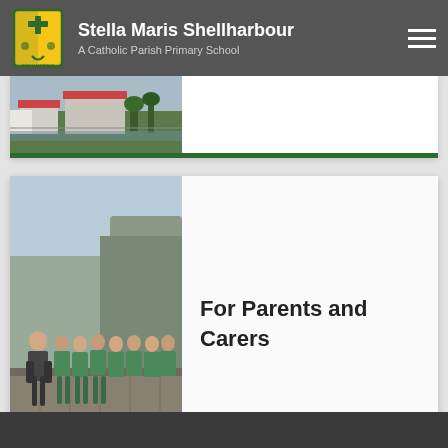Stella Maris Shellharbour — A Catholic Parish Primary School
[Figure (photo): Aerial/landscape photo of school buildings with red rooftop, partially visible card]
[Figure (photo): Group photo of school students and teacher in green uniforms sitting on a stone wall with cliffs in background]
For Parents and Carers